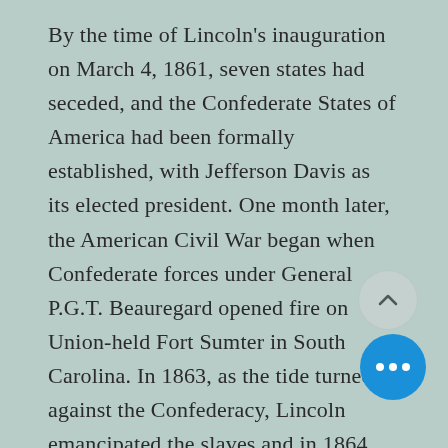By the time of Lincoln's inauguration on March 4, 1861, seven states had seceded, and the Confederate States of America had been formally established, with Jefferson Davis as its elected president. One month later, the American Civil War began when Confederate forces under General P.G.T. Beauregard opened fire on Union-held Fort Sumter in South Carolina. In 1863, as the tide turned against the Confederacy, Lincoln emancipated the slaves and in 1864 won reelection. In April 1865, he was assassinated by Confederate sympathizer John Wilkes Booth at Ford's Theatre in Washington, D.C. The attack came...